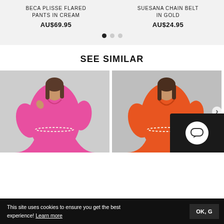BECA PLISSE FLARED PANTS IN CREAM
AU$69.95
SUESANA CHAIN BELT IN GOLD
AU$24.95
SEE SIMILAR
[Figure (photo): Woman wearing a pink plisse flared shirt dress with chain belt]
[Figure (photo): Woman wearing an orange plisse flared shirt dress with chain belt]
This site uses cookies to ensure you get the best experience! Learn more